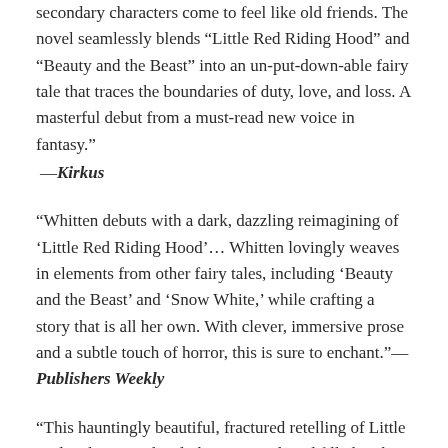secondary characters come to feel like old friends. The novel seamlessly blends "Little Red Riding Hood" and "Beauty and the Beast" into an un-put-down-able fairy tale that traces the boundaries of duty, love, and loss. A masterful debut from a must-read new voice in fantasy."
—Kirkus
"Whitten debuts with a dark, dazzling reimagining of 'Little Red Riding Hood'... Whitten lovingly weaves in elements from other fairy tales, including 'Beauty and the Beast' and 'Snow White,' while crafting a story that is all her own. With clever, immersive prose and a subtle touch of horror, this is sure to enchant."—Publishers Weekly
"This hauntingly beautiful, fractured retelling of Little Red Riding Hood is dark, emotional, and filled with tense action. Whitten's debut is epic and enthralling."—Library Journal